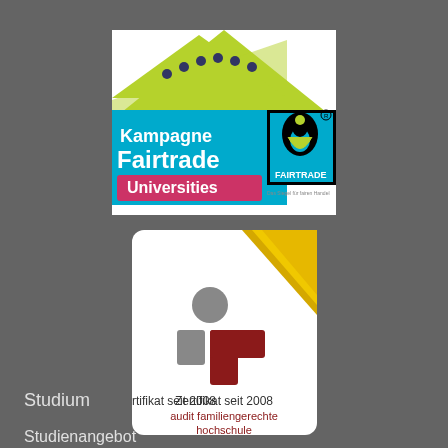[Figure (logo): Kampagne Fairtrade Universities logo with green roof/triangle shape, blue background with 'Kampagne Fairtrade' text, pink 'Universities' banner, and Fairtrade certification mark on the right side]
[Figure (logo): Audit familiengerechte hochschule certificate badge since 2008, white rounded rectangle with gold ribbon corner, grey and dark red stylized figure icon, text 'Zertifikat seit 2008 audit familiengerechte hochschule']
Studium
Studienangebot